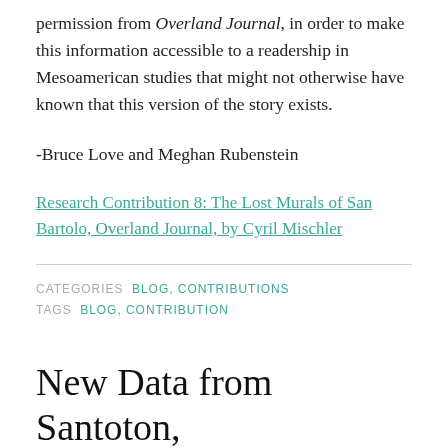permission from Overland Journal, in order to make this information accessible to a readership in Mesoamerican studies that might not otherwise have known that this version of the story exists.
-Bruce Love and Meghan Rubenstein
Research Contribution 8: The Lost Murals of San Bartolo, Overland Journal, by Cyril Mischler
CATEGORIES  BLOG, CONTRIBUTIONS
TAGS  BLOG, CONTRIBUTION
New Data from Santoton, Ocosingo, Chiapas, Mexico